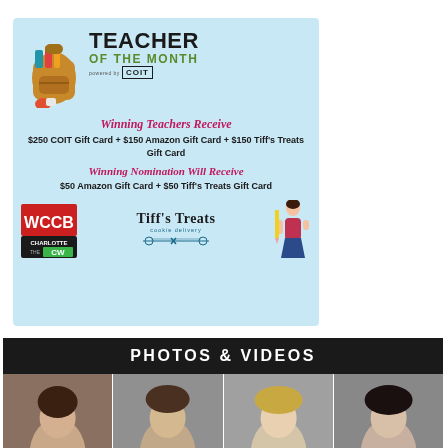[Figure (infographic): Teacher of the Month advertisement by COIT. Light blue background. Shows a backpack illustration, title 'TEACHER OF THE MONTH powered by COIT'. Text: 'Winning Teachers Receive $250 COIT Gift Card + $150 Amazon Gift Card + $150 Tiff's Treats Gift Card'. 'Winning Nomination Will Receive $50 Amazon Gift Card + $50 Tiff's Treats Gift Card'. Logos for WCCB Charlotte CW and Tiff's Treats cookie delivery at the bottom.]
PHOTOS & VIDEOS
[Figure (photo): A strip of portrait photos showing multiple people (faces cropped), appearing to be headshots of news anchors or TV personalities.]